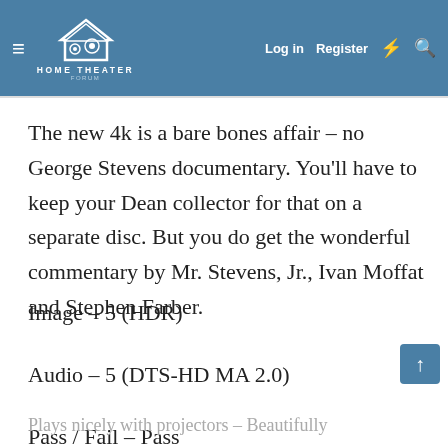HOME THEATER FORUM — Log in | Register
The new 4k is a bare bones affair – no George Stevens documentary. You'll have to keep your Dean collector for that on a separate disc. But you do get the wonderful commentary by Mr. Stevens, Jr., Ivan Moffat and Stephen Farber.
Image – 5 (HDR)
Audio – 5 (DTS-HD MA 2.0)
Pass / Fail – Pass
Plays nicely with projectors – Beautifully